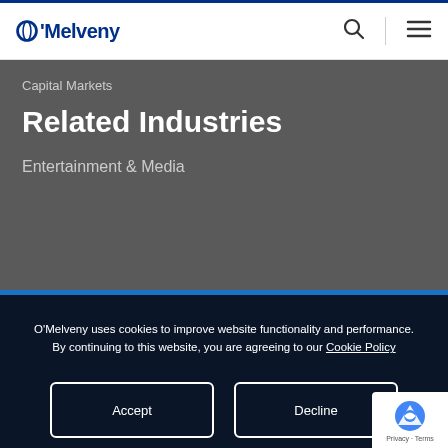O'Melveny
Capital Markets
Related Industries
Entertainment & Media
O'Melveny uses cookies to improve website functionality and performance. By continuing to this website, you are agreeing to our Cookie Policy
Accept
Decline